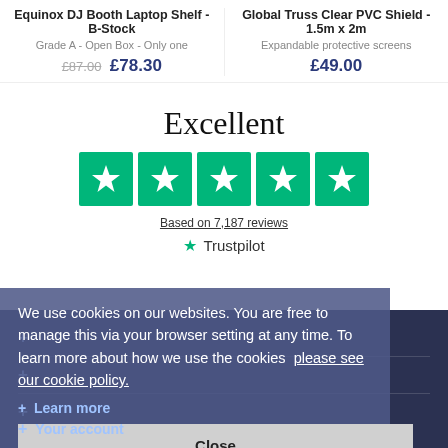Equinox DJ Booth Laptop Shelf - B-Stock
Grade A - Open Box - Only one
£87.00  £78.30
Global Truss Clear PVC Shield - 1.5m x 2m
Expandable protective screens
£49.00
Excellent
[Figure (infographic): Five green Trustpilot star rating boxes in a row]
Based on 7,187 reviews
[Figure (logo): Trustpilot logo with green star]
We use cookies on our websites. You are free to manage this via your browser setting at any time. To learn more about how we use the cookies  please see our cookie policy.
+ Learn more
Close
+ Your account